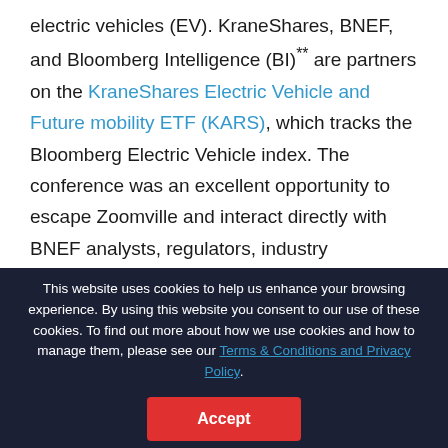electric vehicles (EV). KraneShares, BNEF, and Bloomberg Intelligence (BI)** are partners on the KraneShares Electric Vehicle and Future mobility ETF (KARS), which tracks the Bloomberg Electric Vehicle index. The conference was an excellent opportunity to escape Zoomville and interact directly with BNEF analysts, regulators, industry participants, and company representatives across the EV ecosystem.
This website uses cookies to help us enhance your browsing experience. By using this website you consent to our use of these cookies. To find out more about how we use cookies and how to manage them, please see our Terms & Conditions and Privacy Policy.